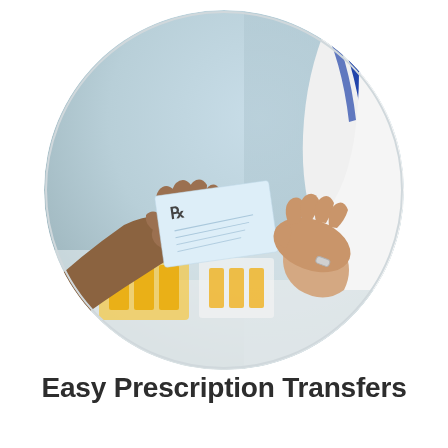[Figure (photo): A circular-cropped photograph of two hands exchanging a prescription paper — a darker-skinned hand on the left passing a small rectangular prescription slip with an Rx symbol to the right hand of a person wearing a white lab coat with blue striped cuffs. Pharmacy medication boxes are blurred in the background.]
Easy Prescription Transfers